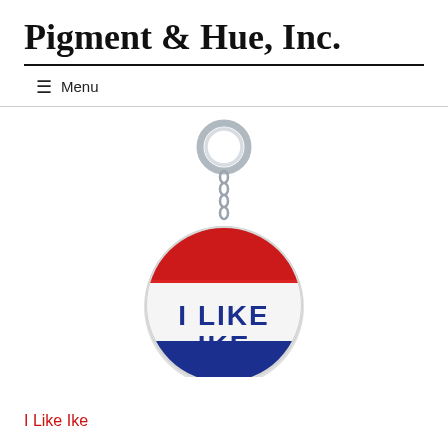Pigment & Hue, Inc.
≡  Menu
[Figure (photo): A keychain featuring a round button badge with red, white, and blue stripes. The badge reads 'I LIKE IKE' in bold blue text on the white stripe. A silver metal ring and short chain connect to the badge.]
I Like Ike